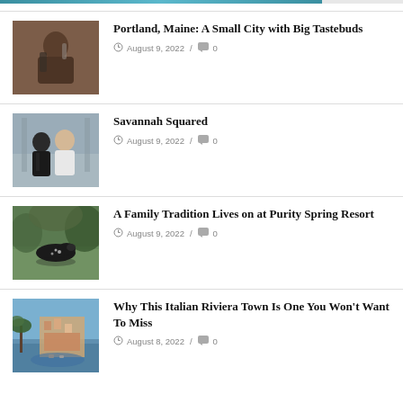[Figure (photo): Person pouring wine or drink in a kitchen/restaurant setting]
Portland, Maine: A Small City with Big Tastebuds
August 9, 2022 / 0
[Figure (photo): Two people (man in suit and person in white shirt) standing in a restaurant or venue]
Savannah Squared
August 9, 2022 / 0
[Figure (photo): A loon bird swimming on a lake surrounded by green foliage]
A Family Tradition Lives on at Purity Spring Resort
August 9, 2022 / 0
[Figure (photo): Italian Riviera coastal town with colorful buildings on hillside and palm trees]
Why This Italian Riviera Town Is One You Won't Want To Miss
August 8, 2022 / 0